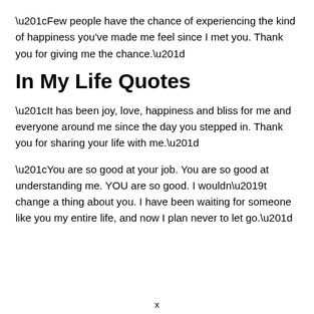“Few people have the chance of experiencing the kind of happiness you've made me feel since I met you. Thank you for giving me the chance.”
In My Life Quotes
“It has been joy, love, happiness and bliss for me and everyone around me since the day you stepped in. Thank you for sharing your life with me.”
“You are so good at your job. You are so good at understanding me. YOU are so good. I wouldn’t change a thing about you. I have been waiting for someone like you my entire life, and now I plan never to let go.”
x